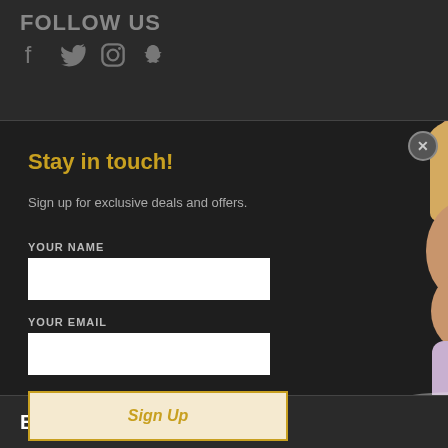FOLLOW US
[Figure (infographic): Social media icons: Facebook, Twitter, Instagram, Snapchat in grey]
Stay in touch!
Sign up for exclusive deals and offers.
YOUR NAME
YOUR EMAIL
Sign Up
[Figure (illustration): 3D rendered female doll figure with blonde hair wearing lavender stockings, kneeling pose on white surface]
BE THE FIRST TO KNOW